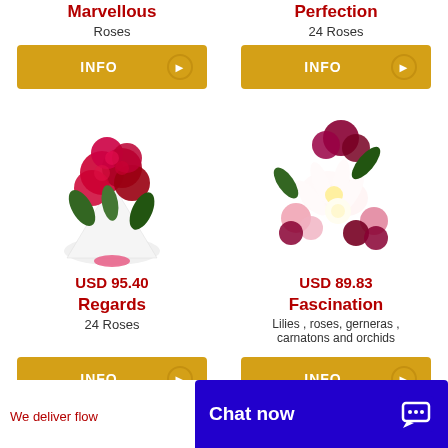Marvellous
Roses
[Figure (other): INFO button for Marvellous product]
Perfection
24 Roses
[Figure (other): INFO button for Perfection product]
[Figure (photo): Bouquet of red roses wrapped in white paper with pink ribbon]
[Figure (photo): Mixed bouquet with lilies, roses, gerneras, carnatons and orchids]
USD 95.40
USD 89.83
Regards
24 Roses
Fascination
Lilies , roses, gerneras , carnatons and orchids
[Figure (other): INFO button for Regards product]
[Figure (other): INFO button for Fascination product]
We deliver flow
Chat now